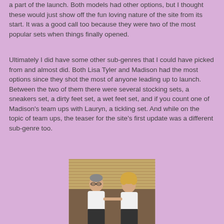a part of the launch. Both models had other options, but I thought these would just show off the fun loving nature of the site from its start. It was a good call too because they were two of the most popular sets when things finally opened.
Ultimately I did have some other sub-genres that I could have picked from and almost did. Both Lisa Tyler and Madison had the most options since they shot the most of anyone leading up to launch. Between the two of them there were several stocking sets, a sneakers set, a dirty feet set, a wet feet set, and if you count one of Madison's team ups with Lauryn, a tickling set. And while on the topic of team ups, the teaser for the site's first update was a different sub-genre too.
[Figure (photo): Two women sitting together, both wearing white tops and dark skirts/pants. One has glasses and short hair, the other has curly blonde hair. They appear to be posed together on a couch or seat with a wooden paneled background.]